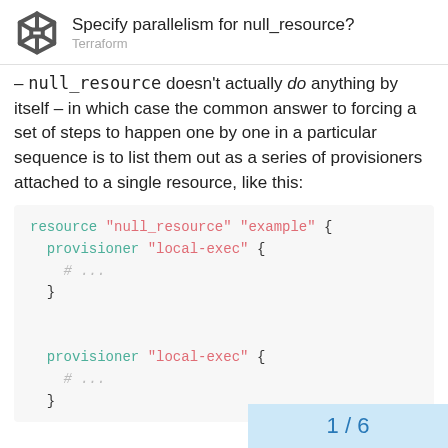Specify parallelism for null_resource? Terraform
– null_resource doesn't actually do anything by itself – in which case the common answer to forcing a set of steps to happen one by one in a particular sequence is to list them out as a series of provisioners attached to a single resource, like this:
[Figure (screenshot): Code block showing a null_resource example with two local-exec provisioners]
1 / 6